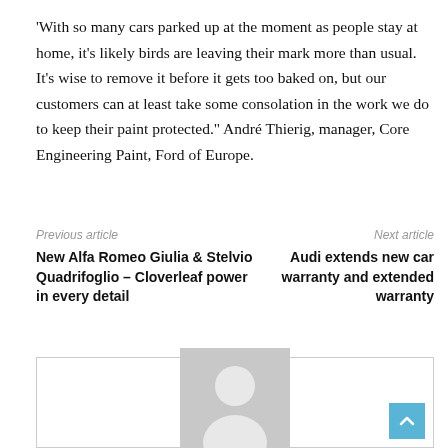'With so many cars parked up at the moment as people stay at home, it's likely birds are leaving their mark more than usual. It's wise to remove it before it gets too baked on, but our customers can at least take some consolation in the work we do to keep their paint protected." André Thierig, manager, Core Engineering Paint, Ford of Europe.
Previous article
Next article
New Alfa Romeo Giulia & Stelvio Quadrifoglio – Cloverleaf power in every detail
Audi extends new car warranty and extended warranty
[Figure (photo): Profile placeholder image showing a generic person silhouette in gray]